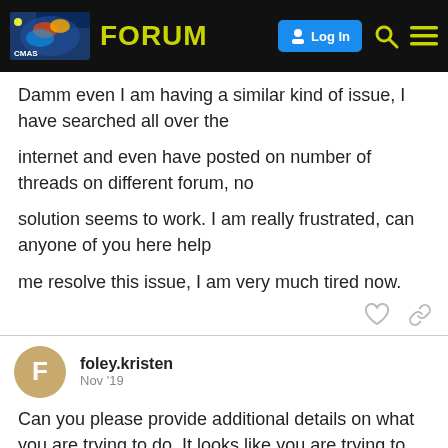CMAS FORUM — Log In
Damm even I am having a similar kind of issue, I have searched all over the

internet and even have posted on number of threads on different forum, no

solution seems to work. I am really frustrated, can anyone of you here help

me resolve this issue, I am very much tired now.
foley.kristen  Nov '19
Can you please provide additional details on what you are trying to do. It looks like you are trying to run BC correct? What year/domain are you trying